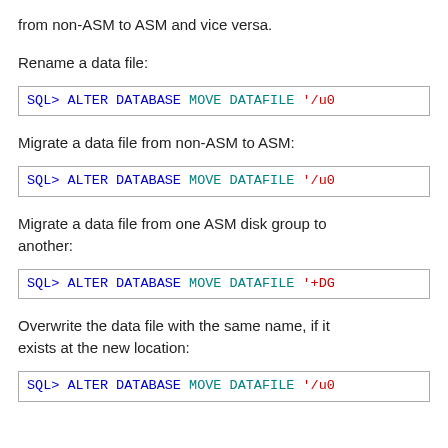from non-ASM to ASM and vice versa.
Rename a data file:
SQL> ALTER DATABASE MOVE DATAFILE '/u0
Migrate a data file from non-ASM to ASM:
SQL> ALTER DATABASE MOVE DATAFILE '/u0
Migrate a data file from one ASM disk group to another:
SQL> ALTER DATABASE MOVE DATAFILE '+DG
Overwrite the data file with the same name, if it exists at the new location:
SQL> ALTER DATABASE MOVE DATAFILE '/u0